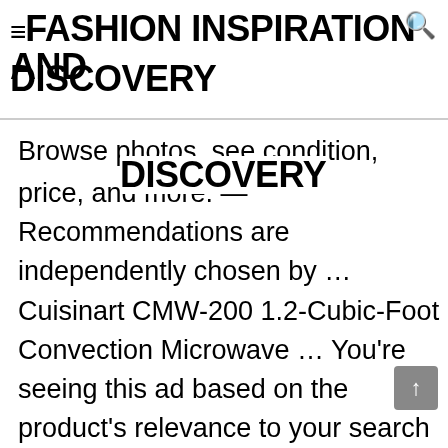≡ FASHION INSPIRATION AND DISCOVERY
Browse photos, see condition, price, and more. — Recommendations are independently chosen by … Cuisinart CMW-200 1.2-Cubic-Foot Convection Microwave … You're seeing this ad based on the product's relevance to your search query. Sale $239.99. Your recently viewed items and featured recommendations, Select the department you want to search in,
xixianxinqufengdongxinchengchengtiyinwujindian
Choose from premium Cuisinart toaster ovens as well as units from a host of today's most